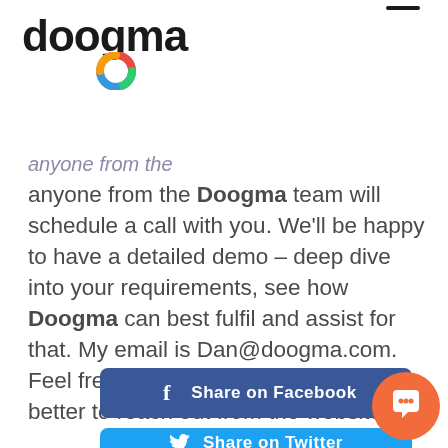doogma [logo with colored ring]
anyone from the Doogma team will schedule a call with you. We'll be happy to have a detailed demo – deep dive into your requirements, see how Doogma can best fulfil and assist for that. My email is Dan@doogma.com. Feel free to reach out to me or even better to reach out from the website.
[Figure (other): Share on Facebook button (dark blue)]
[Figure (other): Share on Twitter button (light blue, partially visible)]
[Figure (other): Orange chat widget button in bottom right corner]